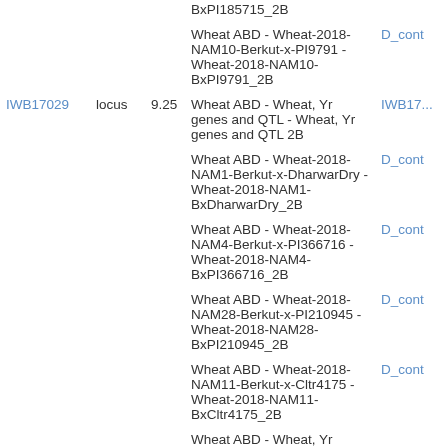|  |  |  | Map/Linkage Group |  |
| --- | --- | --- | --- | --- |
|  |  |  | BxPI185715_2B |  |
| IWB17029 | locus | 9.25 | Wheat ABD - Wheat-2018-NAM10-Berkut-x-PI9791 - Wheat-2018-NAM10-BxPI9791_2B | D_cont |
|  |  |  | Wheat ABD - Wheat, Yr genes and QTL - Wheat, Yr genes and QTL 2B | IWB17... |
|  |  |  | Wheat ABD - Wheat-2018-NAM1-Berkut-x-DharwarDry - Wheat-2018-NAM1-BxDharwarDry_2B | D_cont |
|  |  |  | Wheat ABD - Wheat-2018-NAM4-Berkut-x-PI366716 - Wheat-2018-NAM4-BxPI366716_2B | D_cont |
|  |  |  | Wheat ABD - Wheat-2018-NAM28-Berkut-x-PI210945 - Wheat-2018-NAM28-BxPI210945_2B | D_cont |
|  |  |  | Wheat ABD - Wheat-2018-NAM11-Berkut-x-Cltr4175 - Wheat-2018-NAM11-BxCltr4175_2B | D_cont |
|  |  |  | Wheat ABD - Wheat, Yr |  |